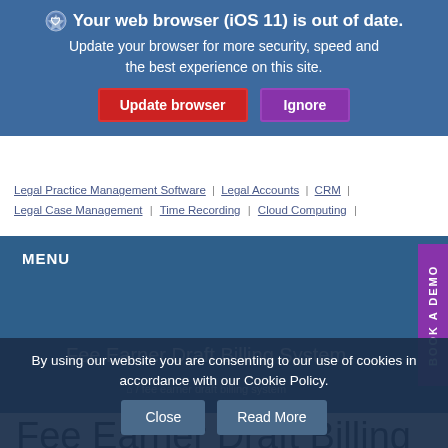[Figure (screenshot): Browser update banner with shield icon, bold title 'Your web browser (iOS 11) is out of date.', subtitle text, Update browser button (red), and Ignore button (purple)]
Legal Practice Management Software | Legal Accounts | CRM | Legal Case Management | Time Recording | Cloud Computing |
MENU
Fee Earner Draft Billing System
🏠 / fee earner draft billing system
BOOK A DEMO
Fee Earner Draft Billing
By using our website you are consenting to our use of cookies in accordance with our Cookie Policy.